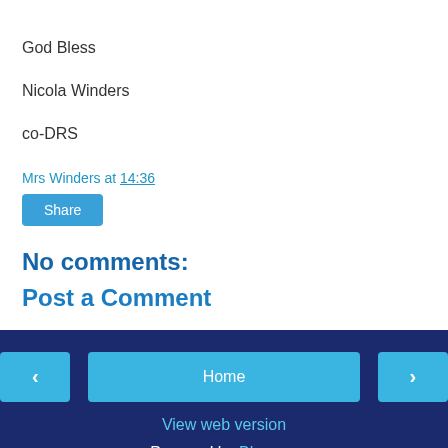God Bless
Nicola Winders
co-DRS
Mrs Winders at 14:36
[Figure (other): Share button]
No comments:
Post a Comment
< Home > View web version Powered by Blogger.